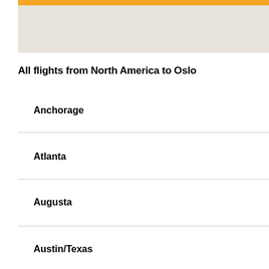[Figure (map): Map area with orange bar at top, showing a partial map background in beige/tan color]
All flights from North America to Oslo
Anchorage
Atlanta
Augusta
Austin/Texas